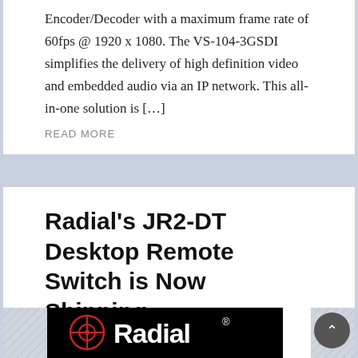Encoder/Decoder with a maximum frame rate of 60fps @ 1920 x 1080. The VS-104-3GSDI simplifies the delivery of high definition video and embedded audio via an IP network. This all-in-one solution is […]
READ MORE
Radial's JR2-DT Desktop Remote Switch is Now Shipping
Last Modified on June 17th, 2014 09:05 pm by Michael Williams in iC14 Press, InfoComm14, Press Releases, rAVe [PUBS]
[Figure (logo): Radial logo on black background with red crosshair/target icon to the left of the white stylized 'Radial' text with registered trademark symbol]